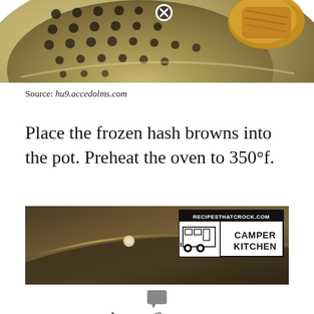[Figure (photo): Close-up photo of a metal colander/strainer with holes and a golden-brown hash brown visible, with a circled X button overlay in the upper area]
Source: hu9.accedolms.com
Place the frozen hash browns into the pot. Preheat the oven to 350°f.
[Figure (photo): Close-up photo of a dark non-stick pan or pot interior with a white rivet/knob visible, and a RecipesThatCrock.com Camper Kitchen logo badge in the top right corner]
Leave a Comment